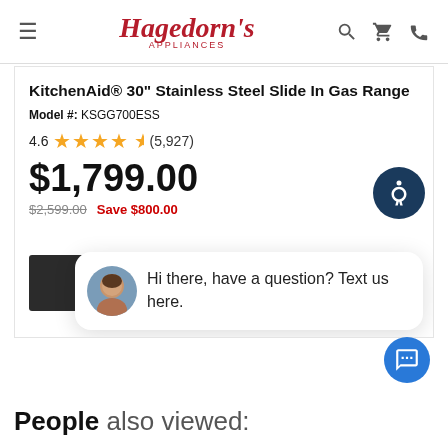Hagedorn's Appliances
KitchenAid® 30" Stainless Steel Slide In Gas Range
Model #: KSGG700ESS
4.6 ★★★★½ (5,927)
$1,799.00
$2,599.00  Save $800.00
[Figure (photo): Dark color swatch thumbnail for appliance]
Hi there, have a question? Text us here.
People also viewed: